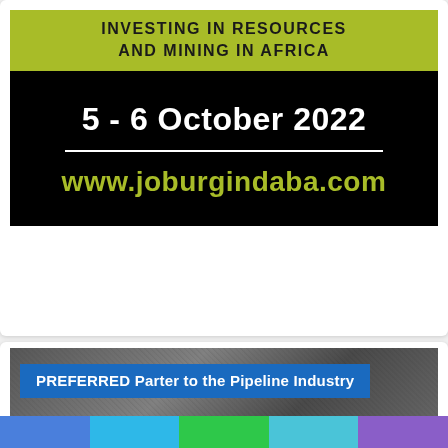INVESTING IN RESOURCES AND MINING IN AFRICA
5 - 6 October 2022
www.joburgindaba.com
[Figure (photo): Grayscale photo background with a blue banner overlay reading: PREFERRED Parter to the Pipeline Industry]
[Figure (infographic): Horizontal color bar strip with five colors: blue, light blue, green, cyan/teal, purple]